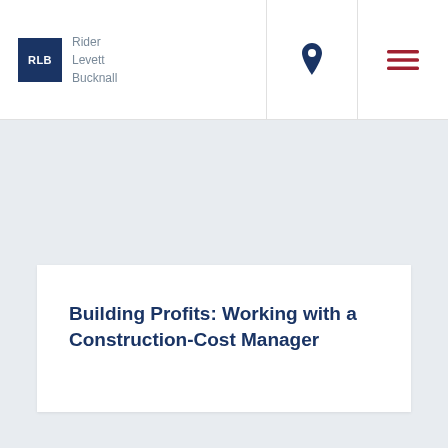[Figure (logo): Rider Levett Bucknall (RLB) logo with dark blue square containing RLB letters and grey company name text]
[Figure (other): Dark blue map pin / location icon]
[Figure (other): Red hamburger menu icon (three horizontal lines)]
Building Profits: Working with a Construction-Cost Manager